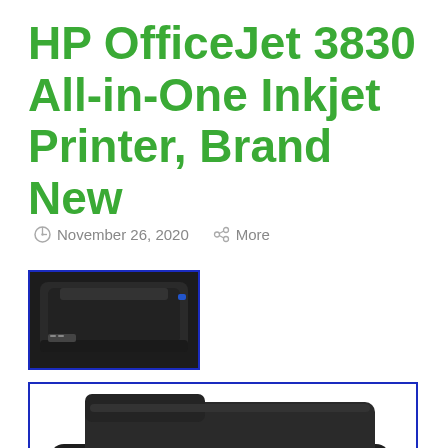HP OfficeJet 3830 All-in-One Inkjet Printer, Brand New
November 26, 2020   More
[Figure (photo): Small thumbnail photo of HP OfficeJet 3830 printer, top view, dark colored, with blue border frame]
[Figure (photo): Larger photo of HP OfficeJet 3830 all-in-one inkjet printer, black color, front-angle view showing control panel and paper tray, with ebay watermark, blue border frame]